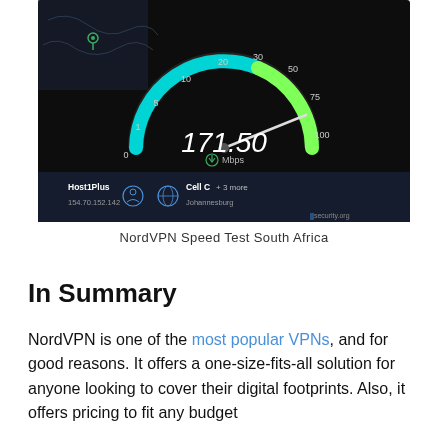[Figure (screenshot): A Speedtest.net speed test result screenshot showing a speedometer gauge reading 171.50 Mbps on a dark background, with host 'Host1Plus' at IP 154.70.152.142, and ISP 'Cell C + 3 more' located in Johannesburg. The gauge arc shows values from 0 to 100+ with a needle pointing past 100.]
NordVPN Speed Test South Africa
In Summary
NordVPN is one of the most popular VPNs, and for good reasons. It offers a one-size-fits-all solution for anyone looking to cover their digital footprints. Also, it offers pricing to fit any budget